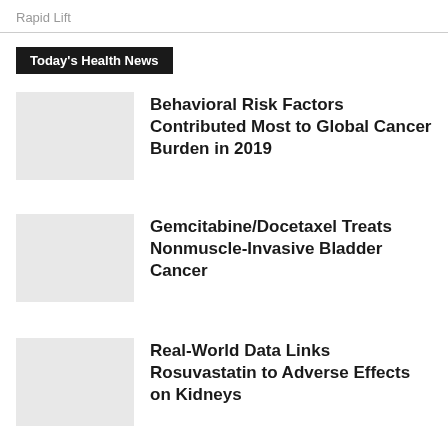Rapid Lift
Today's Health News
Behavioral Risk Factors Contributed Most to Global Cancer Burden in 2019
Gemcitabine/Docetaxel Treats Nonmuscle-Invasive Bladder Cancer
Real-World Data Links Rosuvastatin to Adverse Effects on Kidneys